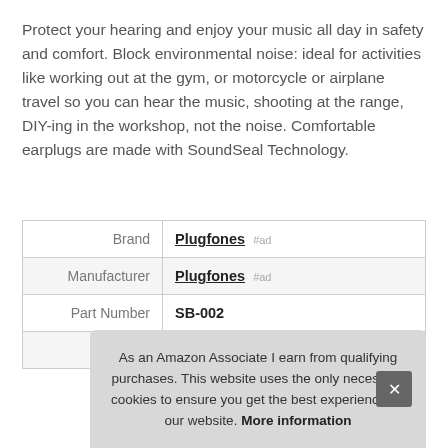Protect your hearing and enjoy your music all day in safety and comfort. Block environmental noise: ideal for activities like working out at the gym, or motorcycle or airplane travel so you can hear the music, shooting at the range, DIY-ing in the workshop, not the noise. Comfortable earplugs are made with SoundSeal Technology.
|  |  |
| --- | --- |
| Brand | Plugfones #ad |
| Manufacturer | Plugfones #ad |
| Part Number | SB-002 |
| Model | SB-002 |
As an Amazon Associate I earn from qualifying purchases. This website uses the only necessary cookies to ensure you get the best experience on our website. More information